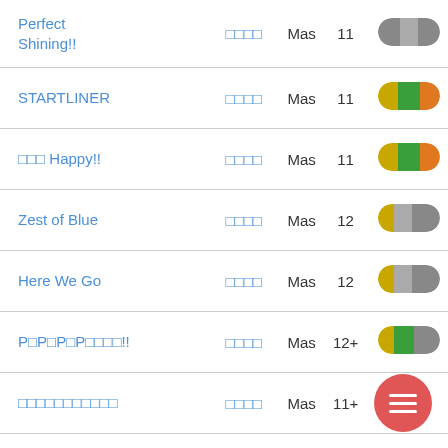| Song | Tags | Difficulty | Level | Badge |
| --- | --- | --- | --- | --- |
| Perfect Shining!! | □□□□ | Mas | 11 | gray pill |
| STARTLINER | □□□□ | Mas | 11 | yellow-green-orange pill |
| □□□ Happy!! | □□□□ | Mas | 11 | yellow-green-orange pill |
| Zest of Blue | □□□□ | Mas | 12 | yellow-gray pill |
| Here We Go | □□□□ | Mas | 12 | yellow-gray pill |
| P□P□P□P□□□□!! | □□□□ | Mas | 12+ | yellow-green-gray pill |
| □□□□□□□□□□□ | □□□□ | Mas | 11+ | partial pill |